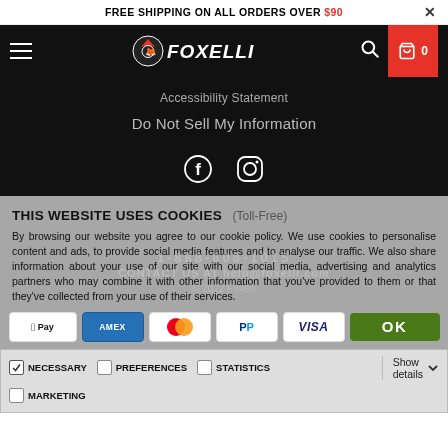FREE SHIPPING ON ALL ORDERS OVER $90 ×
[Figure (logo): Foxelli logo in white italic text with fox icon on black navigation bar]
Accessibility Statement
Do Not Sell My Information
[Figure (illustration): Facebook and Instagram social media icons in white on black background]
THIS WEBSITE USES COOKIES
(Toll-Free)
By browsing our website you agree to our cookie policy. We use cookies to personalise content and ads, to provide social media features and to analyse our traffic. We also share information about your use of our site with our social media, advertising and analytics partners who may combine it with other information that you've provided to them or that they've collected from your use of their services.
[Figure (other): Payment method icons: Apple Pay, American Express, Mastercard, PayPal, Visa, and OK button]
NECESSARY  PREFERENCES  STATISTICS  MARKETING  Show details